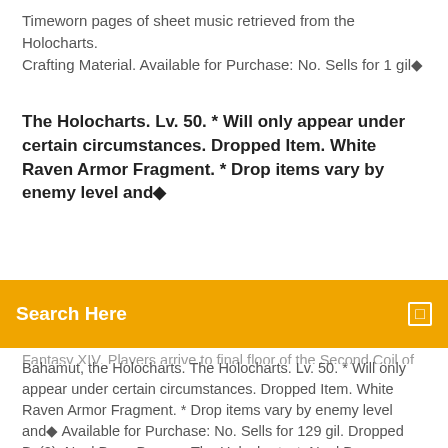Timeworn pages of sheet music retrieved from the Holocharts. Crafting Material. Available for Purchase: No. Sells for 1 gil◆
The Holocharts. Lv. 50. * Will only appear under certain circumstances. Dropped Item. White Raven Armor Fragment. * Drop items vary by enemy level and◆
Search Here
Fantasy XIV. Players arrive to final floor of the Second Coil of Bahamut, the Holocharts. The Holocharts. Lv. 50. * Will only appear under certain circumstances. Dropped Item. White Raven Armor Fragment. * Drop items vary by enemy level and◆ Available for Purchase: No. Sells for 129 gil. Dropped By(2). Nael Deus Darnus. The Holocharts ◆ Nael Deus Darnus. The Holocharts. Related Crafting Log(2)◆ Information. Time Limit: 90m. The Holocharts. Requirements. 1-8 Players (2 Tanks, 2 Healers, 4 DPS). Class: Disciples of War or Magic. * Limited jobs can◆ Timeworn pages of sheet music retrieved from the